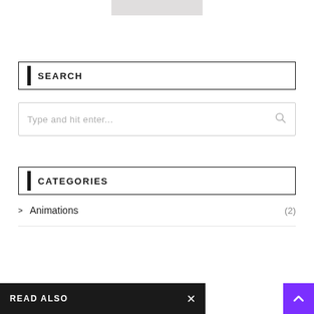[Figure (other): Partial gray image bar at top center of page]
SEARCH
Type and hit enter...
CATEGORIES
Animations (2)
READ ALSO